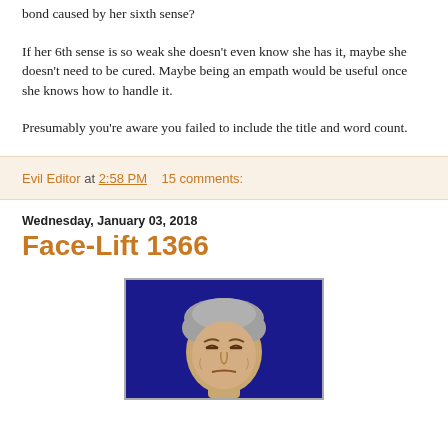bond caused by her sixth sense?
If her 6th sense is so weak she doesn't even know she has it, maybe she doesn't need to be cured. Maybe being an empath would be useful once she knows how to handle it.
Presumably you're aware you failed to include the title and word count.
Evil Editor at 2:58 PM    15 comments:
Wednesday, January 03, 2018
Face-Lift 1366
[Figure (illustration): Cartoon illustration of a person with curly gray hair on a dark blue background, showing head and upper body, the face appearing stern or squinting.]